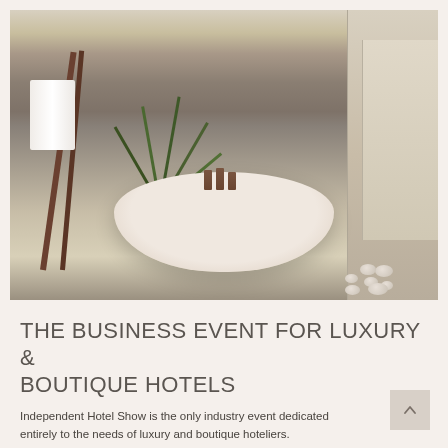[Figure (photo): Luxury hotel bathroom featuring a freestanding oval bathtub, stone pebble floor, tropical palm plant, wooden towel ladder rack with white towels, and stone tile walls.]
THE BUSINESS EVENT FOR LUXURY & BOUTIQUE HOTELS
Independent Hotel Show is the only industry event dedicated entirely to the needs of luxury and boutique hoteliers.